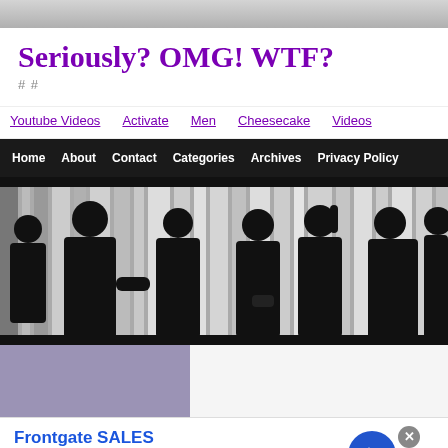Seriously? OMG! WTF?
# #
Youtube Videos   Activate   Men   Cheesecake   Videos
Home   About   Contact   Categories   Archives   Privacy Policy
[Figure (photo): Black and white photo of silhouettes of people standing and conversing in front of curtained windows]
[Figure (infographic): Advertisement: Frontgate SALES - 20% off sitewide plus free shipping from August 19-22. frontgate.com]